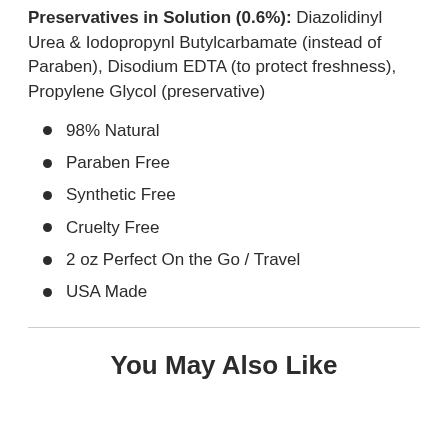Preservatives in Solution (0.6%): Diazolidinyl Urea & Iodopropynl Butylcarbamate (instead of Paraben), Disodium EDTA (to protect freshness), Propylene Glycol (preservative)
98% Natural
Paraben Free
Synthetic Free
Cruelty Free
2 oz Perfect On the Go / Travel
USA Made
You May Also Like